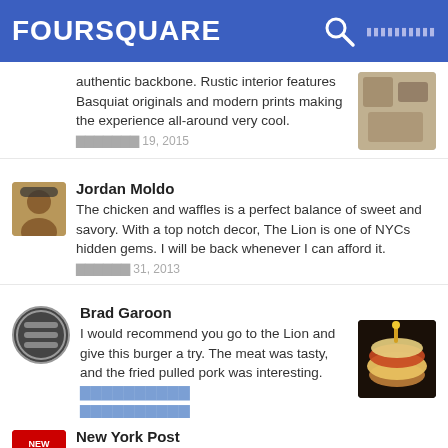FOURSQUARE
authentic backbone. Rustic interior features Basquiat originals and modern prints making the experience all-around very cool. ███████ 19, 2015
Jordan Moldo
The chicken and waffles is a perfect balance of sweet and savory. With a top notch decor, The Lion is one of NYCs hidden gems. I will be back whenever I can afford it.
██████ 31, 2013
Brad Garoon
I would recommend you go to the Lion and give this burger a try. The meat was tasty, and the fried pulled pork was interesting.
██████ 23, 2015
New York Post
Far from the riffraff of the main dining room below, the private, second-floor table at John DeLucie’s West Village restaurant is undoubtedly one of the best in the city.
██████ 1, 2014